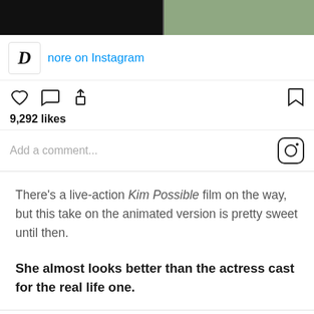[Figure (screenshot): Top portion of Instagram post showing partial images — dark shape on left and person in light green top on right]
[Figure (screenshot): Instagram post interface showing D logo, 'nore on Instagram' link in blue, heart/comment/share icons, 9,292 likes, and Add a comment field with Instagram camera icon]
There's a live-action Kim Possible film on the way, but this take on the animated version is pretty sweet until then.
She almost looks better than the actress cast for the real life one.
[Figure (screenshot): Bottom strip showing an avatar circle and a blue line on the right]